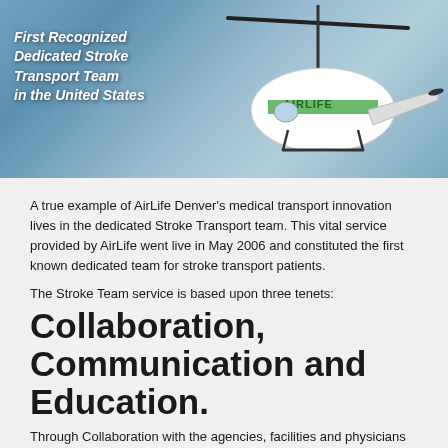[Figure (photo): AirLife Denver helicopter in flight against a blue sky, with overlay text reading 'First Recognized Dedicated Stroke Transport Team in the United States']
A true example of AirLife Denver's medical transport innovation lives in the dedicated Stroke Transport team. This vital service provided by AirLife went live in May 2006 and constituted the first known dedicated team for stroke transport patients.
The Stroke Team service is based upon three tenets:
Collaboration, Communication and Education.
Through Collaboration with the agencies, facilities and physicians in our service area, AirLife Denver has established stroke transport service throughout our 8-state region via ground, fixed wing or rotor wing service. Most notably, our